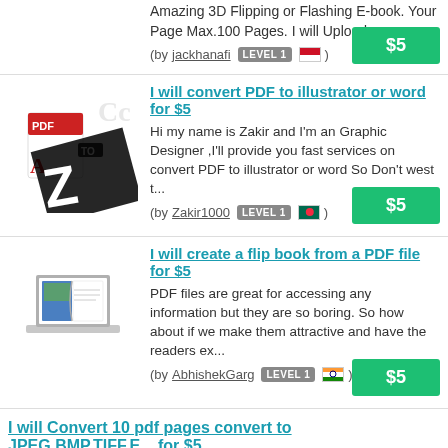Amazing 3D Flipping or Flashing E-book. Your Page Max.100 Pages. I will Upload you...
(by jackhanafi LEVEL 1 [Indonesia flag])
$5
I will convert PDF to illustrator or word for $5
Hi my name is Zakir and I'm an Graphic Designer ,I'll provide you fast services on convert PDF to illustrator or word So Don't west t...
(by Zakir1000 LEVEL 1 [Bangladesh flag])
$5
I will create a flip book from a PDF file for $5
PDF files are great for accessing any information but they are so boring. So how about if we make them attractive and have the readers ex...
(by AbhishekGarg LEVEL 1 [India flag])
$5
I will Convert 10 pdf pages convert to JPEG,BMP,TIFF,E... for $5
I will Convert 10 pdf pages to JPEG,BMP,TIFF,EMP,WMF,GIF,PNG,EPS only for